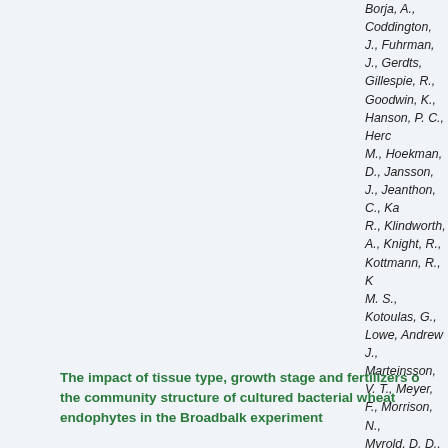Borja, A., Coddington, J., Fuhrman, J., Gerdts, Gillespie, R., Goodwin, K., Hanson, P. C., Herc M., Hoekman, D., Jansson, J., Jeanthon, C., Ka R., Klindworth, A., Knight, R., Kottmann, R., K M. S., Kotoulas, G., Lowe, Andrew J., Marteinsson, V. T., Meyer, F., Morrison, N., Myrold, D. D., Pafilis, E., Parker, S., Parnell, J. Polymenakou, P. N., Ratnasingham, S., Roder. G. K., Rodriguez-Ezpeleta, N., Schonrogge, K., Simon, N., Valette-Silver, N. J., Springer, Y. P., Stone, G. N., Stones-Havas, S., Sansone, S-A., Thibault, K. M., Wecker, P., Wichels, A., Wool J. C., Yahara, T. and Zingone, A. 2014. The founding charter of the Genomic Observator. Network. GigaScience. 3 (1), pp. 1-5. https://doi.org/10.1186/2047-217X-3-2
The impact of tissue type, growth stage and fertilizers o the community structure of cultured bacterial wheat endophytes in the Broadbalk experiment